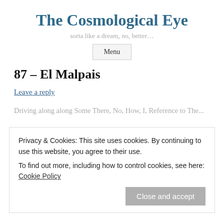The Cosmological Eye
sorta like a dream, no, better...
Menu
87 – El Malpais
Leave a reply
Privacy & Cookies: This site uses cookies. By continuing to use this website, you agree to their use. To find out more, including how to control cookies, see here: Cookie Policy
Close and accept
There is much more to see within the 114,000 acre